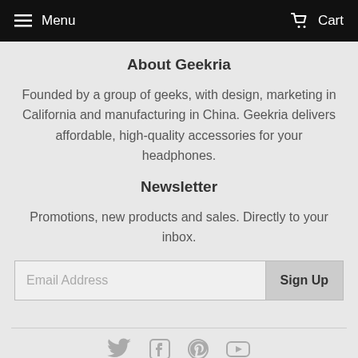Menu   Cart
About Geekria
Founded by a group of geeks, with design, marketing in California and manufacturing in China. Geekria delivers affordable, high-quality accessories for your headphones.
Newsletter
Promotions, new products and sales. Directly to your inbox.
Email Address   Sign Up
[Figure (infographic): Social media icons: Twitter, Facebook, Pinterest, YouTube]